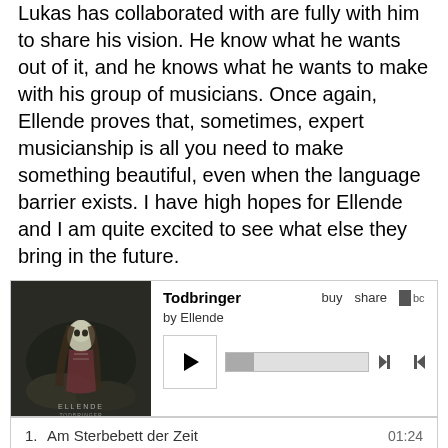Lukas has collaborated with are fully with him to share his vision. He know what he wants out of it, and he knows what he wants to make with his group of musicians. Once again, Ellende proves that, sometimes, expert musicianship is all you need to make something beautiful, even when the language barrier exists. I have high hopes for Ellende and I am quite excited to see what else they bring in the future.
[Figure (screenshot): Bandcamp embedded music player for 'Todbringer' by Ellende. Shows album art (skeletal figure with long hair in dark forest), track listing with times: 1. Am Sterbebett der Zeit 01:24, 2. Ballade auf den Tod (active/bold) 00:00/07:45, 3. Verehrung 07:41, 4. Scherben 15:00. Player controls include play button, progress bar, skip buttons, buy/share links, and Bandcamp logo.]